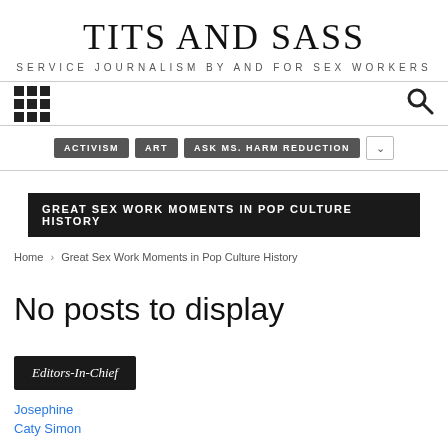TITS AND SASS
SERVICE JOURNALISM BY AND FOR SEX WORKERS
[Figure (other): Navigation bar with grid icon on left and search icon on right]
ACTIVISM   ART   ASK MS. HARM REDUCTION
GREAT SEX WORK MOMENTS IN POP CULTURE HISTORY
Home › Great Sex Work Moments in Pop Culture History
No posts to display
Editors-In-Chief
Josephine
Caty Simon